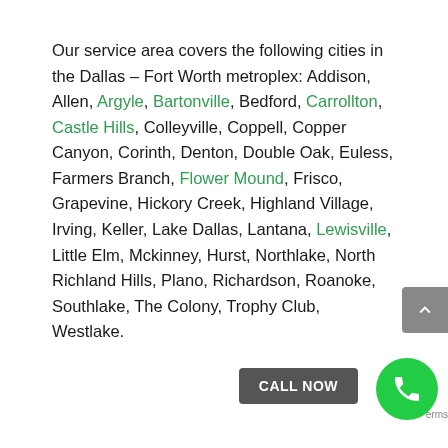Our service area covers the following cities in the Dallas – Fort Worth metroplex: Addison, Allen, Argyle, Bartonville, Bedford, Carrollton, Castle Hills, Colleyville, Coppell, Copper Canyon, Corinth, Denton, Double Oak, Euless, Farmers Branch, Flower Mound, Frisco, Grapevine, Hickory Creek, Highland Village, Irving, Keller, Lake Dallas, Lantana, Lewisville, Little Elm, Mckinney, Hurst, Northlake, North Richland Hills, Plano, Richardson, Roanoke, Southlake, The Colony, Trophy Club, Westlake.
[Figure (other): Gray scroll-to-top button with upward chevron arrow on the right side of page]
[Figure (other): Dark gray CALL NOW button and green phone icon circle at bottom right]